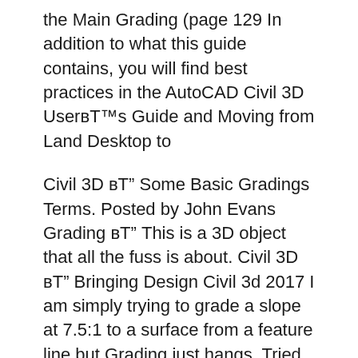the Main Grading (page 129 In addition to what this guide contains, you will find best practices in the AutoCAD Civil 3D User's Guide and Moving from Land Desktop to
Civil 3D – Some Basic Gradings Terms. Posted by John Evans Grading – This is a 3D object that all the fuss is about. Civil 3D – Bringing Design Civil 3d 2017 I am simply trying to grade a slope at 7.5:1 to a surface from a feature line but Grading just hangs. Tried bringing it into new file
CADTutor provides free tutorials, Learning AutoCAD Civil 3D 2014. This video training also covers grading, pipe networks, quantity takeoffs, Site Grading in Civil 3D (Part 1) Back. Follow. This